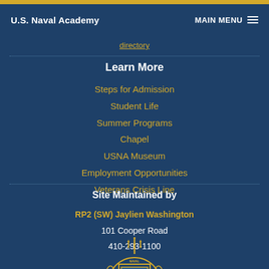U.S. Naval Academy | MAIN MENU
directory
Learn More
Steps for Admission
Student Life
Summer Programs
Chapel
USNA Museum
Employment Opportunities
Veterans Crisis Line
Site Maintained by
RP2 (SW) Jaylien Washington
101 Cooper Road
410-293-1100
[Figure (logo): U.S. Naval Academy seal/crest in gold on dark blue background]